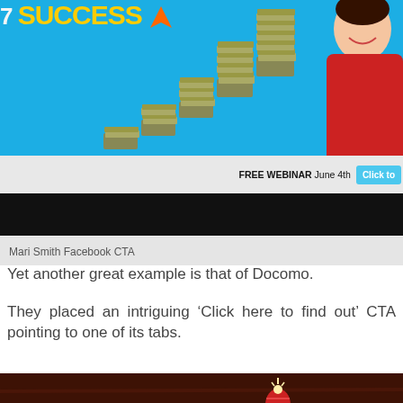[Figure (screenshot): Mari Smith Facebook CTA banner showing stacked money piles on blue background with woman in red top, and a 'FREE WEBINAR June 4th Click to' bar at bottom]
Mari Smith Facebook CTA
Yet another great example is that of Docomo.
They placed an intriguing ‘Click here to find out’ CTA pointing to one of its tabs.
[Figure (screenshot): Docomo Facebook page screenshot showing cartoon orange character holding a microphone near a 'News' sign, with text 'Want to know WHAT'S everywhere?' on dark wood background]